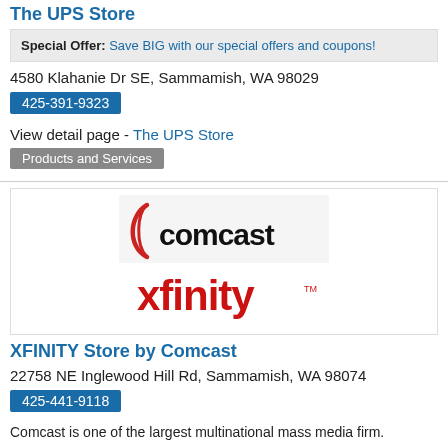The UPS Store
Special Offer: Save BIG with our special offers and coupons!
4580 Klahanie Dr SE, Sammamish, WA 98029
425-391-9323
View detail page - The UPS Store
Products and Services
[Figure (logo): Comcast Xfinity logo — red curved line above 'comcast' text in black, and 'xfinity' in red below]
XFINITY Store by Comcast
22758 NE Inglewood Hill Rd, Sammamish, WA 98074
425-441-9118
Comcast is one of the largest multinational mass media firm.